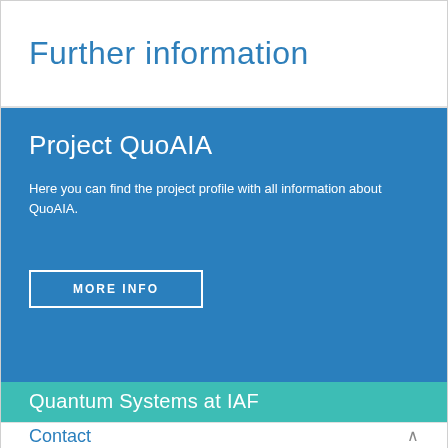Further information
Project QuoAIA
Here you can find the project profile with all information about QuoAIA.
MORE INFO
Quantum Systems at IAF
Contact